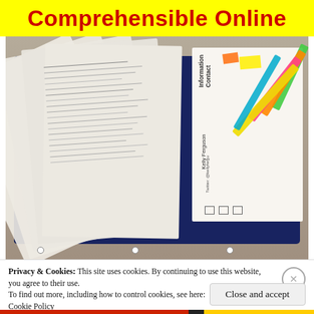Comprehensible Online
[Figure (photo): Photo of a dark blue binder on a desk with multiple fanned-out pages/worksheets spread across it, along with colorful highlighters (green, orange, pink, yellow) resting on a contact information sheet. The contact sheet shows 'Contact Information' and 'Kelly Ferguson' with Twitter handle '@kellyfergu'.]
Privacy & Cookies: This site uses cookies. By continuing to use this website, you agree to their use.
To find out more, including how to control cookies, see here:
Cookie Policy
Close and accept